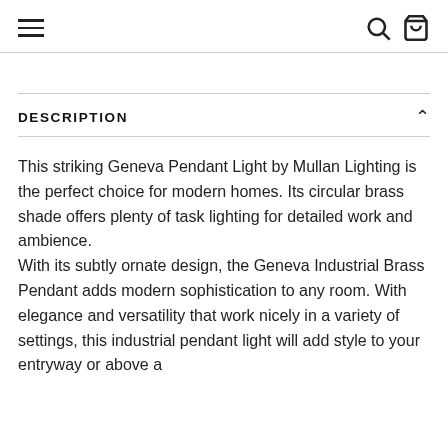Navigation header with hamburger menu, search icon, and cart icon
DESCRIPTION
This striking Geneva Pendant Light by Mullan Lighting is the perfect choice for modern homes. Its circular brass shade offers plenty of task lighting for detailed work and ambience.
With its subtly ornate design, the Geneva Industrial Brass Pendant adds modern sophistication to any room. With elegance and versatility that work nicely in a variety of settings, this industrial pendant light will add style to your entryway or above a